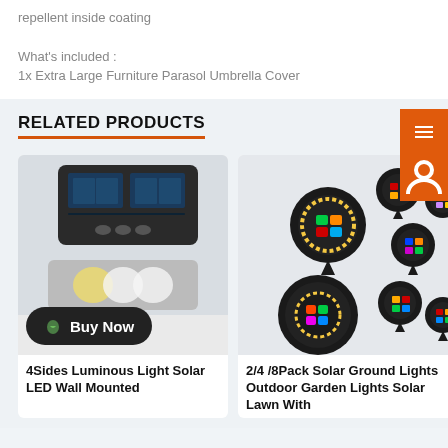repellent inside coating
What's included :
1x Extra Large Furniture Parasol Umbrella Cover
RELATED PRODUCTS
[Figure (photo): 4Sides Luminous Light Solar LED Wall Mounted product image showing solar panel device and wall light, with a Buy Now overlay button]
4Sides Luminous Light Solar LED Wall Mounted
[Figure (photo): 2/4/8Pack Solar Ground Lights Outdoor Garden product image showing multiple colorful LED ground stake lights]
2/4 /8Pack Solar Ground Lights Outdoor Garden Lights Solar Lawn With